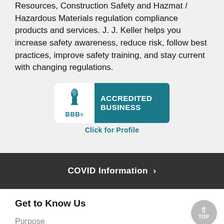Resources, Construction Safety and Hazmat / Hazardous Materials regulation compliance products and services. J. J. Keller helps you increase safety awareness, reduce risk, follow best practices, improve safety training, and stay current with changing regulations.
[Figure (logo): BBB Accredited Business badge with torch logo and 'Click for Profile' link below]
COVID Information >
Get to Know Us
Purpose
Our Story